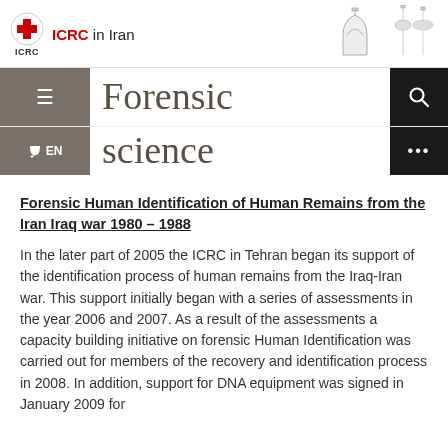ICRC in Iran
Forensic science
Forensic Human Identification of Human Remains from the Iran Iraq war 1980 – 1988
In the later part of 2005 the ICRC in Tehran began its support of the identification process of human remains from the Iraq-Iran war. This support initially began with a series of assessments in the year 2006 and 2007. As a result of the assessments a capacity building initiative on forensic Human Identification was carried out for members of the recovery and identification process in 2008. In addition, support for DNA equipment was signed in January 2009 for